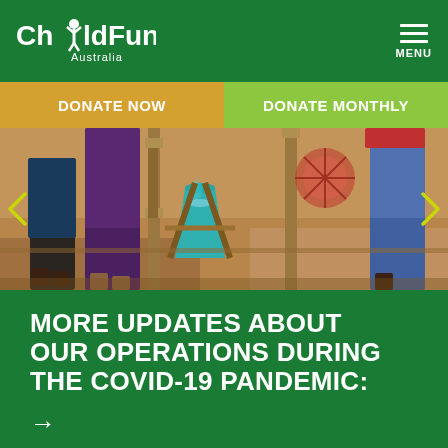ChildFund Australia
DONATE NOW
DONATE MONTHLY
[Figure (photo): Photo of people's legs and feet standing around a teal/turquoise bucket on the ground, with wooden structures visible, suggesting a handwashing station in an outdoor setting in Africa.]
MORE UPDATES ABOUT OUR OPERATIONS DURING THE COVID-19 PANDEMIC: →